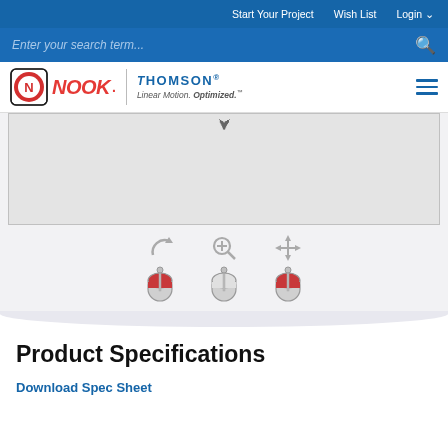Start Your Project   Wish List   Login
Enter your search term...
[Figure (logo): Nook Industries logo and Thomson Linear Motion Optimized logo with hamburger menu]
[Figure (screenshot): 3D model viewer area showing a product with rotate, zoom, and pan controls with mouse icons]
Product Specifications
Download Spec Sheet